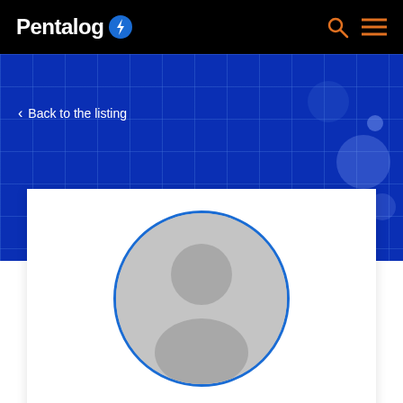Pentalog
< Back to the listing
[Figure (illustration): Generic user profile avatar placeholder — a grey circle with a white silhouette of a person (head and shoulders) centered within it, surrounded by a blue border ring.]
Arthur C.
FULL STACK DEVELOPER